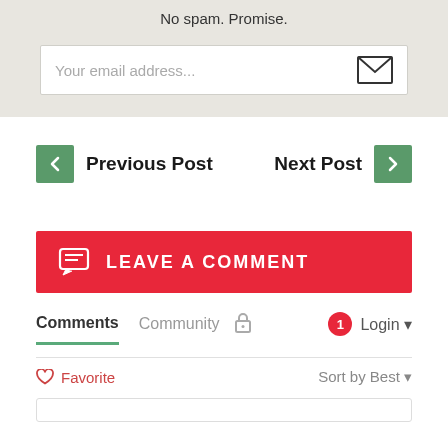No spam. Promise.
Your email address...
Previous Post
Next Post
LEAVE A COMMENT
Comments
Community
1
Login
Favorite
Sort by Best